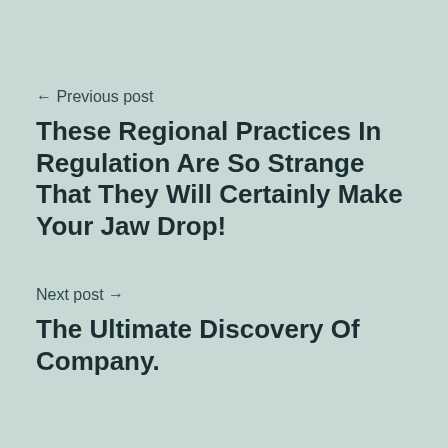← Previous post
These Regional Practices In Regulation Are So Strange That They Will Certainly Make Your Jaw Drop!
Next post →
The Ultimate Discovery Of Company.